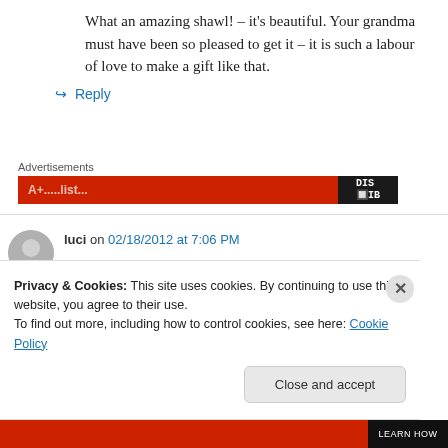What an amazing shawl! – it's beautiful. Your grandma must have been so pleased to get it – it is such a labour of love to make a gift like that.
↳ Reply
Advertisements
luci on 02/18/2012 at 7:06 PM
Perfect color and pattern marriage. You
Privacy & Cookies: This site uses cookies. By continuing to use this website, you agree to their use.
To find out more, including how to control cookies, see here: Cookie Policy
Close and accept